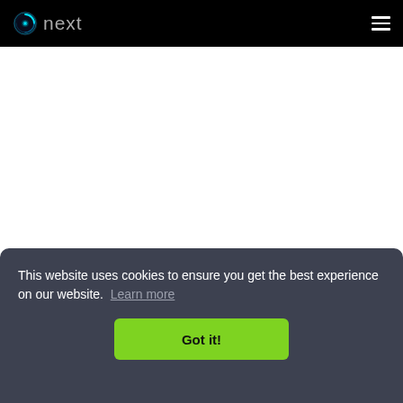next  ☰
[Figure (logo): next brand logo with swirling globe/eye icon in teal and a hamburger menu icon on the right, on a black navigation bar]
This website uses cookies to ensure you get the best experience on our website. Learn more
Got it!